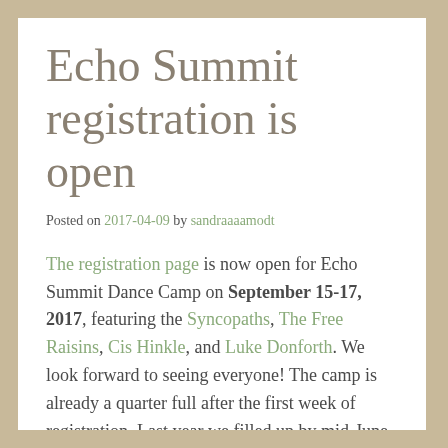Echo Summit registration is open
Posted on 2017-04-09 by sandraaaamodt
The registration page is now open for Echo Summit Dance Camp on September 15-17, 2017, featuring the Syncopaths, The Free Raisins, Cis Hinkle, and Luke Donforth. We look forward to seeing everyone! The camp is already a quarter full after the first week of registration. Last year we filled up by mid-June, so get your registration in promptly to join in the fun!
Come to Camp Sacramento, high in the Sierra,